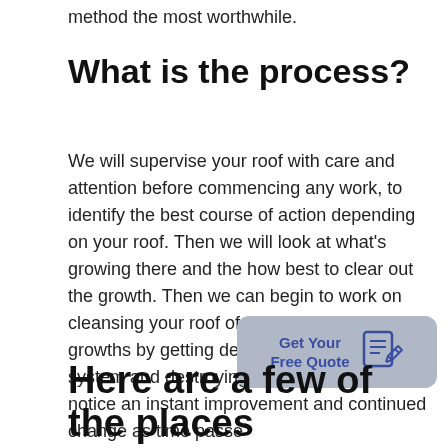method the most worthwhile.
What is the process?
We will supervise your roof with care and attention before commencing any work, to identify the best course of action depending on your roof. Then we will look at what’s growing there and the how best to clear out the growth. Then we can begin to work on cleansing your roof of organic colonising growths by getting deep into the moss root system and destroying the spores. You’ll notice an instant improvement and continued change as time passe…
[Figure (other): Button/CTA element with text 'Get Your Free Quote' and a document/edit icon, on a grey rounded rectangle background]
Here are a few of the places